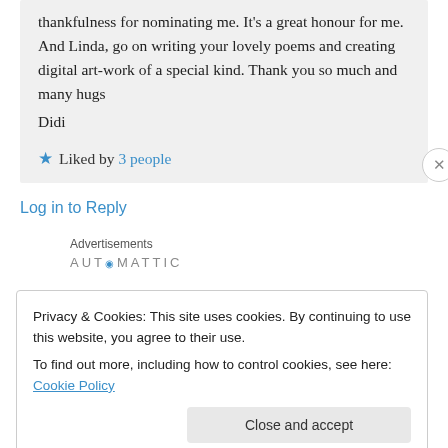thankfulness for nominating me. It's a great honour for me. And Linda, go on writing your lovely poems and creating digital artwork of a special kind. Thank you so much and many hugs
Didi
Liked by 3 people
Log in to Reply
Advertisements
AUTOMATTIC
Privacy & Cookies: This site uses cookies. By continuing to use this website, you agree to their use.
To find out more, including how to control cookies, see here: Cookie Policy
Close and accept